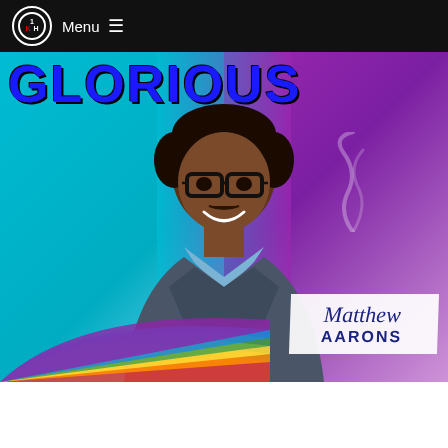Menu
[Figure (photo): Album art / promotional image for Matthew Aarons featuring the word GLORIOUS in large blue block letters at the top, a young Black man wearing glasses and a blue blazer smiling, set against a teal and purple gradient background with rainbow colored stripes at the bottom left and a white brushstroke name card reading Matthew Aarons in the bottom right]
[Figure (logo): Orange RSS feed icon in bottom left of page]